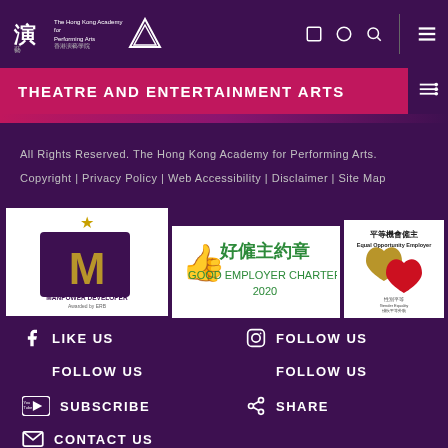The Hong Kong Academy for Performing Arts 香港演藝學院
THEATRE AND ENTERTAINMENT ARTS
All Rights Reserved. The Hong Kong Academy for Performing Arts.
Copyright | Privacy Policy | Web Accessibility | Disclaimer | Site Map
[Figure (logo): Manpower Developer award logo with gold star and 'M' lettermark]
[Figure (logo): Good Employer Charter 2020 logo with Chinese text 好僱主約章 and thumbs up icon]
[Figure (logo): Equal Opportunity Employer logo with heart symbol and Chinese text 平等機會僱主]
LIKE US
FOLLOW US
FOLLOW US
FOLLOW US
SUBSCRIBE
SHARE
CONTACT US